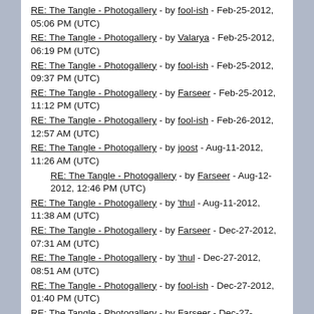RE: The Tangle - Photogallery - by fool-ish - Feb-25-2012, 05:06 PM (UTC)
RE: The Tangle - Photogallery - by Valarya - Feb-25-2012, 06:19 PM (UTC)
RE: The Tangle - Photogallery - by fool-ish - Feb-25-2012, 09:37 PM (UTC)
RE: The Tangle - Photogallery - by Farseer - Feb-25-2012, 11:12 PM (UTC)
RE: The Tangle - Photogallery - by fool-ish - Feb-26-2012, 12:57 AM (UTC)
RE: The Tangle - Photogallery - by joost - Aug-11-2012, 11:26 AM (UTC)
RE: The Tangle - Photogallery - by Farseer - Aug-12-2012, 12:46 PM (UTC) [indented]
RE: The Tangle - Photogallery - by 'thul - Aug-11-2012, 11:38 AM (UTC)
RE: The Tangle - Photogallery - by Farseer - Dec-27-2012, 07:31 AM (UTC)
RE: The Tangle - Photogallery - by 'thul - Dec-27-2012, 08:51 AM (UTC)
RE: The Tangle - Photogallery - by fool-ish - Dec-27-2012, 01:40 PM (UTC)
RE: The Tangle - Photogallery - by Farseer - Dec-27-